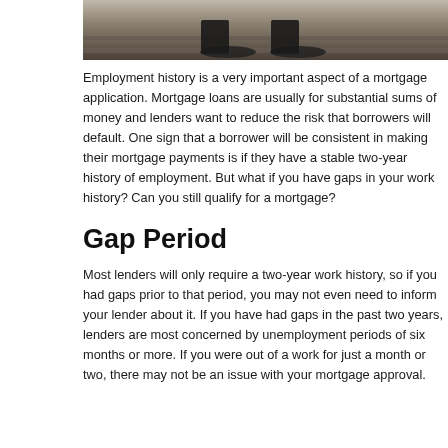[Figure (photo): A person's feet and lower legs wearing dark shoes, standing on steps or a surface, black and white or desaturated photo.]
Employment history is a very important aspect of a mortgage application. Mortgage loans are usually for substantial sums of money and lenders want to reduce the risk that borrowers will default. One sign that a borrower will be consistent in making their mortgage payments is if they have a stable two-year history of employment. But what if you have gaps in your work history? Can you still qualify for a mortgage?
Gap Period
Most lenders will only require a two-year work history, so if you had gaps prior to that period, you may not even need to inform your lender about it. If you have had gaps in the past two years, lenders are most concerned by unemployment periods of six months or more. If you were out of a work for just a month or two, there may not be an issue with your mortgage approval.